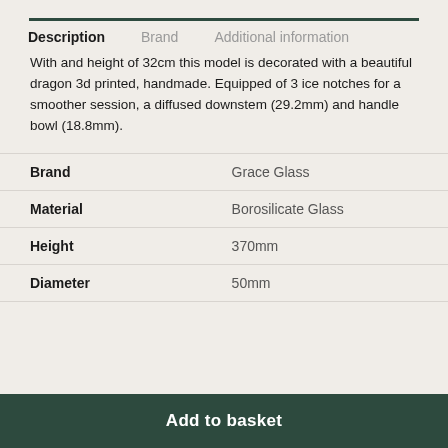Description
Brand
Additional information
With and height of 32cm this model is decorated with a beautiful dragon 3d printed, handmade. Equipped of 3 ice notches for a smoother session, a diffused downstem (29.2mm) and handle bowl (18.8mm).
|  |  |
| --- | --- |
| Brand | Grace Glass |
| Material | Borosilicate Glass |
| Height | 370mm |
| Diameter | 50mm |
Add to basket